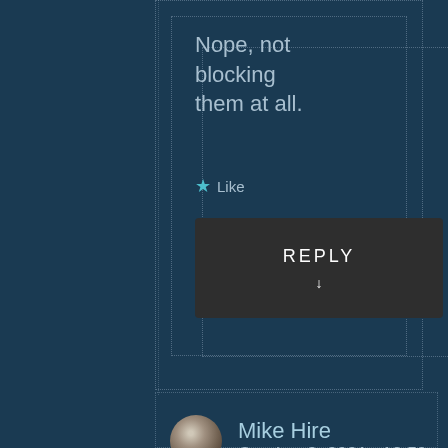Nope, not blocking them at all.
★ Like
REPLY ↓
Mike Hire
October 3, 2021 · 12:59